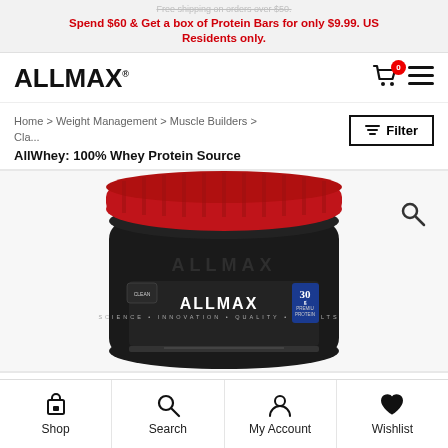Free shipping on orders over $50.
Spend $60 & Get a box of Protein Bars for only $9.99. US Residents only.
[Figure (logo): ALLMAX logo in bold black text with registered trademark symbol]
Home > Weight Management > Muscle Builders > Cla... AllWhey: 100% Whey Protein Source
[Figure (photo): ALLMAX AllWhey protein tub with red lid and black body, showing 30g Premium Protein label]
Shop | Search | My Account | Wishlist